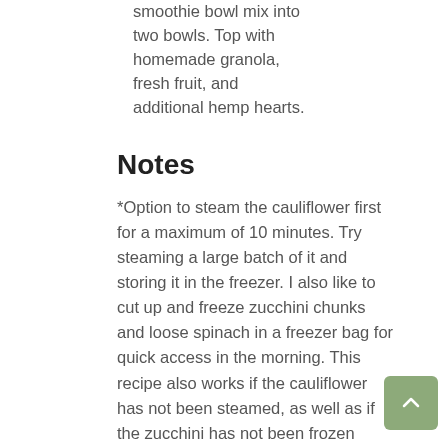smoothie bowl mix into two bowls. Top with homemade granola, fresh fruit, and additional hemp hearts.
Notes
*Option to steam the cauliflower first for a maximum of 10 minutes. Try steaming a large batch of it and storing it in the freezer. I also like to cut up and freeze zucchini chunks and loose spinach in a freezer bag for quick access in the morning. This recipe also works if the cauliflower has not been steamed, as well as if the zucchini has not been frozen